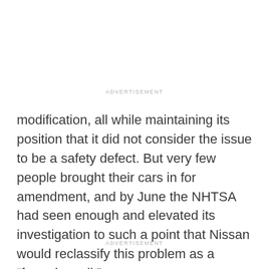ADVERTISEMENT
modification, all while maintaining its position that it did not consider the issue to be a safety defect. But very few people brought their cars in for amendment, and by June the NHTSA had seen enough and elevated its investigation to such a point that Nissan would reclassify this problem as a “formal recall.”
ADVERTISEMENT